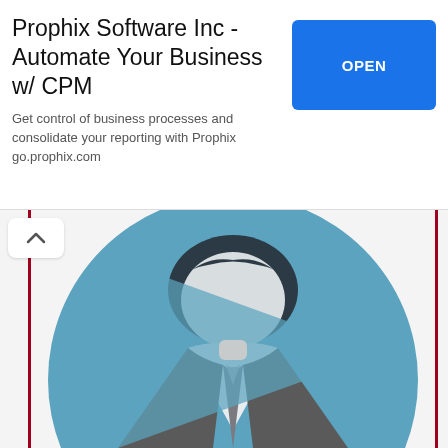[Figure (infographic): Advertisement banner for Prophix Software Inc with title, subtitle, and OPEN button]
Prophix Software Inc - Automate Your Business w/ CPM
Get control of business processes and consolidate your reporting with Prophix go.prophix.com
[Figure (illustration): Blue circle icon with an anonymous business person silhouette (suit, tie, no visible face) inside, overlaid with a large blue play arrow or similar graphic element. The image is partially cropped at the bottom.]